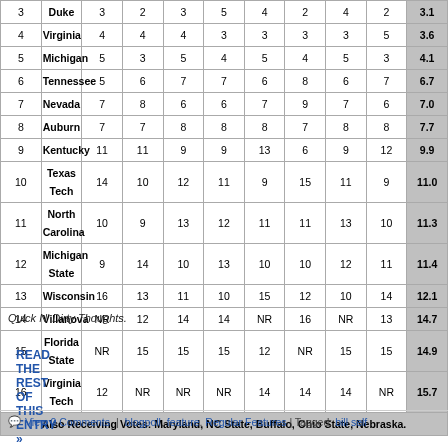| # | Team | 1 | 2 | 3 | 4 | 5 | 6 | 7 | 8 | Avg |
| --- | --- | --- | --- | --- | --- | --- | --- | --- | --- | --- |
| 3 | Duke | 3 | 2 | 3 | 5 | 4 | 2 | 4 | 2 | 3.1 |
| 4 | Virginia | 4 | 4 | 4 | 3 | 3 | 3 | 3 | 5 | 3.6 |
| 5 | Michigan | 5 | 3 | 5 | 4 | 5 | 4 | 5 | 3 | 4.1 |
| 6 | Tennessee | 5 | 6 | 7 | 7 | 6 | 8 | 6 | 7 | 6.7 |
| 7 | Nevada | 7 | 8 | 6 | 6 | 7 | 9 | 7 | 6 | 7.0 |
| 8 | Auburn | 7 | 7 | 8 | 8 | 8 | 7 | 8 | 8 | 7.7 |
| 9 | Kentucky | 11 | 11 | 9 | 9 | 13 | 6 | 9 | 12 | 9.9 |
| 10 | Texas Tech | 14 | 10 | 12 | 11 | 9 | 15 | 11 | 9 | 11.0 |
| 11 | North Carolina | 10 | 9 | 13 | 12 | 11 | 11 | 13 | 10 | 11.3 |
| 12 | Michigan State | 9 | 14 | 10 | 13 | 10 | 10 | 12 | 11 | 11.4 |
| 13 | Wisconsin | 16 | 13 | 11 | 10 | 15 | 12 | 10 | 14 | 12.1 |
| 14 | Villanova | NR | 12 | 14 | 14 | NR | 16 | NR | 13 | 14.7 |
| 15 | Florida State | NR | 15 | 15 | 15 | 12 | NR | 15 | 15 | 14.9 |
| 16 | Virginia Tech | 12 | NR | NR | NR | 14 | 14 | 14 | NR | 15.7 |
Also Receiving Votes: Maryland, NC State, Buffalo, Ohio State, Nebraska.
Quick N' Dirty Thoughts.
READ THE REST OF THIS ENTRY »
View 0 Comments | blogpoll, feature, Regular Features | Tagged: bill self